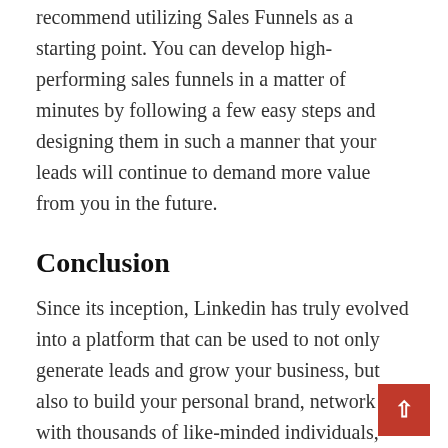recommend utilizing Sales Funnels as a starting point. You can develop high-performing sales funnels in a matter of minutes by following a few easy steps and designing them in such a manner that your leads will continue to demand more value from you in the future.
Conclusion
Since its inception, Linkedin has truly evolved into a platform that can be used to not only generate leads and grow your business, but also to build your personal brand, network with thousands of like-minded individuals, and truly make a difference in not only your own life, but also the lives of those around you. Greetings, and I look forward to